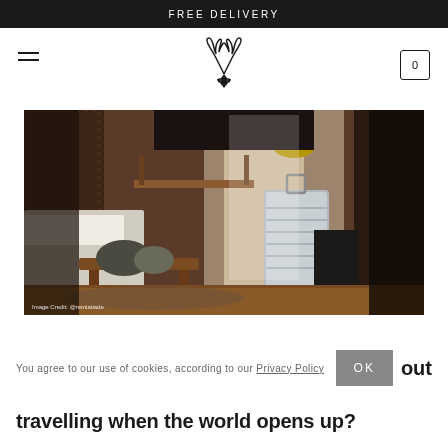FREE DELIVERY
[Figure (logo): Deer antler logo with hamburger menu icon and cart icon showing 0]
[Figure (photo): Hotel room interior with a bed, wooden bench, silver luggage, patterned curtains and warm lighting. Image Credit: @remiatiade]
You agree to our use of cookies, according to our Privacy Policy
travelling when the world opens up?